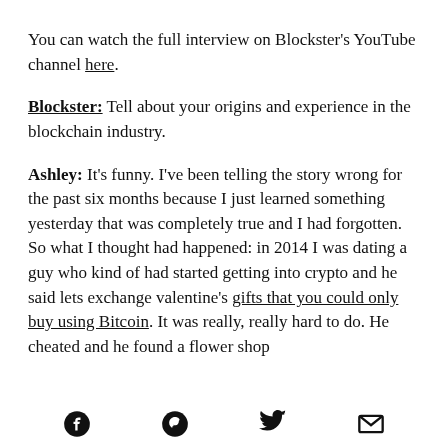You can watch the full interview on Blockster's YouTube channel here.
Blockster: Tell about your origins and experience in the blockchain industry.
Ashley: It's funny. I've been telling the story wrong for the past six months because I just learned something yesterday that was completely true and I had forgotten. So what I thought had happened: in 2014 I was dating a guy who kind of had started getting into crypto and he said lets exchange valentine's gifts that you could only buy using Bitcoin. It was really, really hard to do. He cheated and he found a flower shop
social icons: facebook, pinterest, twitter, email